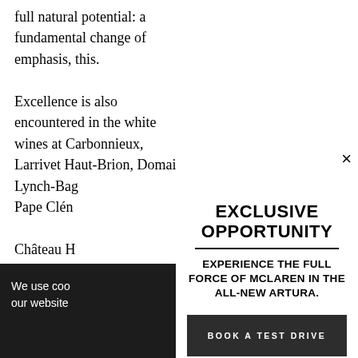full natural potential: a fundamental change of emphasis, this.
Excellence is also encountered in the white wines at Carbonnieux, Larrivet Haut-Brion, Domaine Lynch-Bag… Pape Clén…
Château H… overall fa… forgive a…
We use coo… our website…
[Figure (infographic): McLaren Artura exclusive opportunity advertisement overlay with close button (×), heading 'EXCLUSIVE OPPORTUNITY', horizontal divider, tagline 'EXPERIENCE THE FULL FORCE OF McLAREN IN THE ALL-NEW ARTURA.', and a dark 'BOOK A TEST DRIVE' button.]